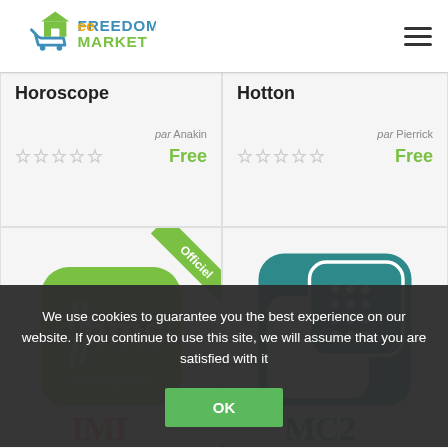[Figure (logo): Freedommarket logo with house and shopping cart icon, green and blue colored text]
Horoscope
par Anakin
Free
Hotton
par Pierrick
Free
[Figure (screenshot): HMS app icon - green rounded square with double slash and HMS text, Officiel ribbon in corner]
[Figure (screenshot): Intesisbox WMP app icon - teal rounded square with overlapping squares and grid pattern, INTESISBOX WMP label below]
We use cookies to guarantee you the best experience on our website. If you continue to use this site, we will assume that you are satisfied with it
OK